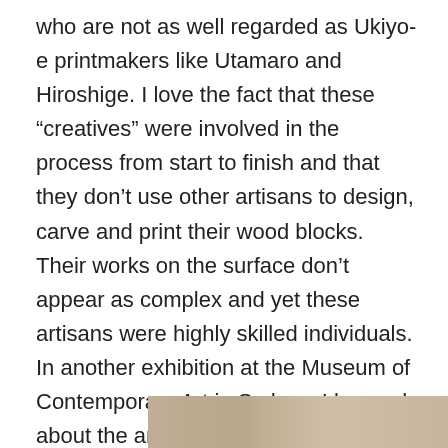who are not as well regarded as Ukiyo-e printmakers like Utamaro and Hiroshige. I love the fact that these “creatives” were involved in the process from start to finish and that they don’t use other artisans to design, carve and print their wood blocks. Their works on the surface don’t appear as complex and yet these artisans were highly skilled individuals. In another exhibition at the Museum of Contemporary Art in Sydney, I learned about the animated installations by contemporary Japanese artist Tabaimo who creates thousands of detailed drawings which are laboriously scanned into her computer to create her wonderful works. These facts gleaned from text panels and further investigated on the internet added value to what I saw on display and my appreciation of the works that I initially connected to.
[Figure (photo): Partial view of an image strip at the bottom of the page, showing a beige/tan colored image partially visible]